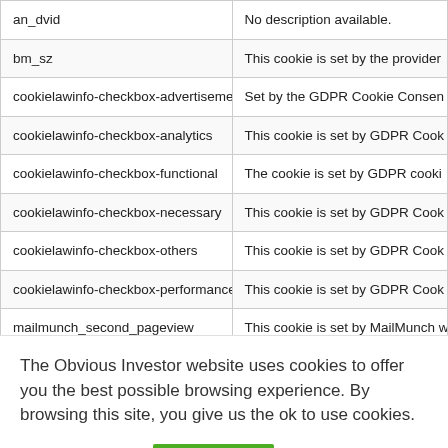| Cookie | Description |
| --- | --- |
| an_dvid | No description available. |
| bm_sz | This cookie is set by the provider |
| cookielawinfo-checkbox-advertisement | Set by the GDPR Cookie Consen |
| cookielawinfo-checkbox-analytics | This cookie is set by GDPR Cook |
| cookielawinfo-checkbox-functional | The cookie is set by GDPR cooki |
| cookielawinfo-checkbox-necessary | This cookie is set by GDPR Cook |
| cookielawinfo-checkbox-others | This cookie is set by GDPR Cook |
| cookielawinfo-checkbox-performance | This cookie is set by GDPR Cook |
| mailmunch_second_pageview | This cookie is set by MailMunch w |
| NID | NID cookie, set by Google, is use |
The Obvious Investor website uses cookies to offer you the best possible browsing experience. By browsing this site, you give us the ok to use cookies.
Cookie Policy
- OK -